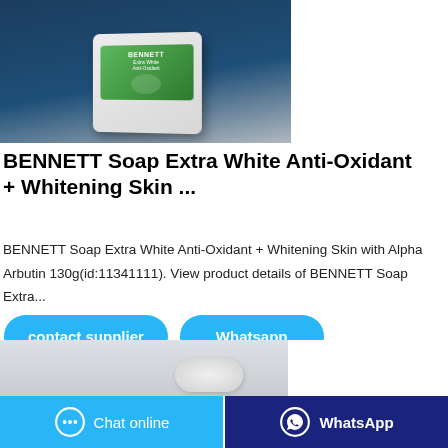[Figure (photo): Product photo of BENNETT Soap Extra White Anti-Oxidant box on a dark blue background]
BENNETT Soap Extra White Anti-Oxidant + Whitening Skin ...
BENNETT Soap Extra White Anti-Oxidant + Whitening Skin with Alpha Arbutin 130g(id:11341111). View product details of BENNETT Soap Extra...
[Figure (screenshot): Contact supplier and Whatsapp buttons (blue rounded buttons)]
[Figure (photo): Bottom section showing product image and Chat online / WhatsApp action buttons]